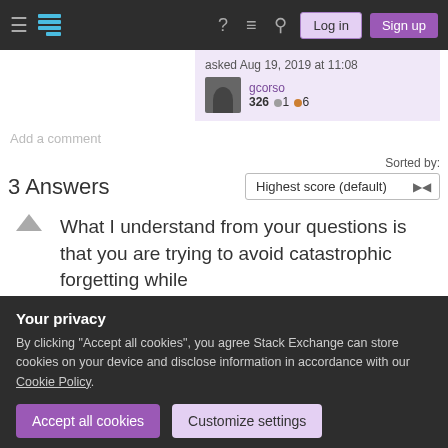Stack Exchange navigation bar with hamburger menu, logo, help, chat, search icons, Log in and Sign up buttons
asked Aug 19, 2019 at 11:08
gcorso 326 ●1 ●6
Add a comment
3 Answers
Sorted by:
Highest score (default)
What I understand from your questions is that you are trying to avoid catastrophic forgetting while
Your privacy
By clicking "Accept all cookies", you agree Stack Exchange can store cookies on your device and disclose information in accordance with our Cookie Policy.
Accept all cookies
Customize settings
particular task but changing data result in a change